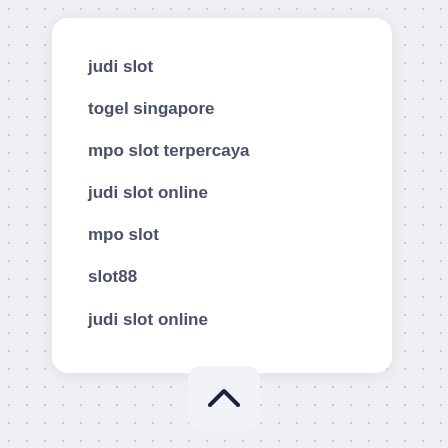judi slot
togel singapore
mpo slot terpercaya
judi slot online
mpo slot
slot88
judi slot online
[Figure (illustration): A chevron/up-arrow icon button in a light grey rounded rectangle, positioned at the bottom center of the page.]